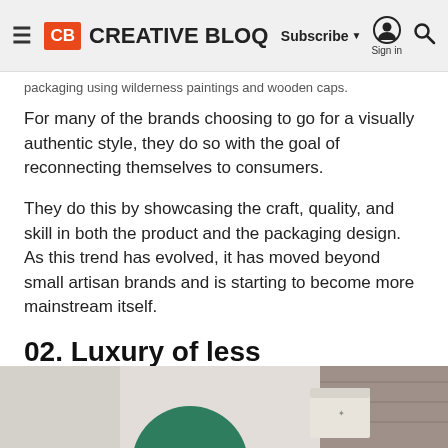CB CREATIVE BLOQ — Subscribe ▼ Sign in 🔍
packaging using wilderness paintings and wooden caps.
For many of the brands choosing to go for a visually authentic style, they do so with the goal of reconnecting themselves to consumers.
They do this by showcasing the craft, quality, and skill in both the product and the packaging design. As this trend has evolved, it has moved beyond small artisan brands and is starting to become more mainstream itself.
02. Luxury of less
[Figure (photo): Partial image of minimalist luxury packaging — a green circle and a beige/cream box on a wooden surface]